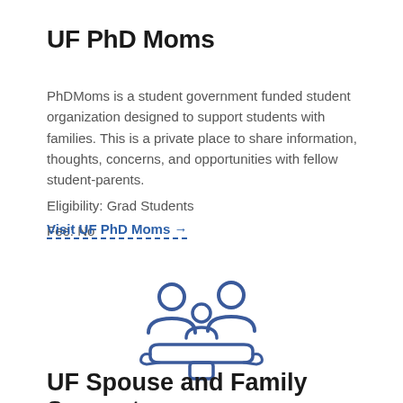UF PhD Moms
PhDMoms is a student government funded student organization designed to support students with families. This is a private place to share information, thoughts, concerns, and opportunities with fellow student-parents.
Eligibility: Grad Students
Fee: No
Visit UF PhD Moms →
[Figure (illustration): Icon of a family (two adults and a child) held in an open hand, drawn in blue outline style.]
UF Spouse and Family Support